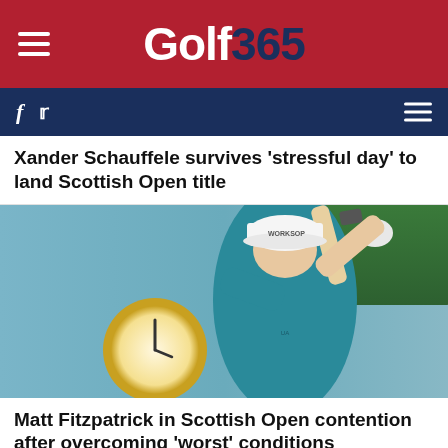Golf365
Xander Schauffele survives 'stressful day' to land Scottish Open title
[Figure (photo): Golfer Matt Fitzpatrick mid-swing wearing a white Worksop cap and teal polo shirt, with a blurred gold clock and green background behind him]
Matt Fitzpatrick in Scottish Open contention after overcoming 'worst' conditions